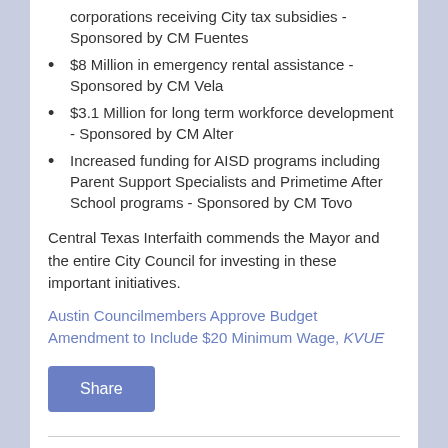contract employees and employees of corporations receiving City tax subsidies - Sponsored by CM Fuentes
$8 Million in emergency rental assistance - Sponsored by CM Vela
$3.1 Million for long term workforce development - Sponsored by CM Alter
Increased funding for AISD programs including Parent Support Specialists and Primetime After School programs - Sponsored by CM Tovo
Central Texas Interfaith commends the Mayor and the entire City Council for investing in these important initiatives.
Austin Councilmembers Approve Budget Amendment to Include $20 Minimum Wage, KVUE
Share
Central Texas Interfaith Calls